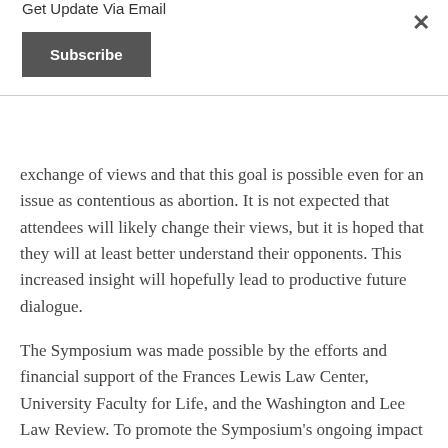Get Update Via Email
Subscribe
exchange of views and that this goal is possible even for an issue as contentious as abortion. It is not expected that attendees will likely change their views, but it is hoped that they will at least better understand their opponents. This increased insight will hopefully lead to productive future dialogue.
The Symposium was made possible by the efforts and financial support of the Frances Lewis Law Center, University Faculty for Life, and the Washington and Lee Law Review. To promote the Symposium's ongoing impact on the abortion debate, the Washington and Lee Law Review has committed to publish all articles prepared for